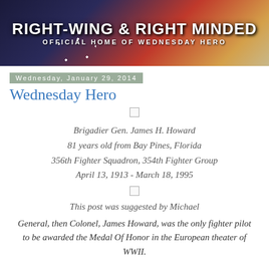[Figure (illustration): Blog banner for 'Right-Wing & Right Minded — Official Home of Wednesday Hero' with American flag and military camouflage background, stars on the left, red and tan sections on the right.]
Wednesday, January 29, 2014
Wednesday Hero
Brigadier Gen. James H. Howard
81 years old from Bay Pines, Florida
356th Fighter Squadron, 354th Fighter Group
April 13, 1913 - March 18, 1995
This post was suggested by Michael
General, then Colonel, James Howard, was the only fighter pilot to be awarded the Medal Of Honor in the European theater of WWII.